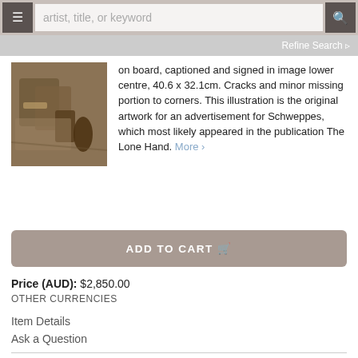artist, title, or keyword  Refine Search
[Figure (photo): Sepia-toned illustration of bags and a bottle on a fur or feathered surface, original artwork for a Schweppes advertisement]
on board, captioned and signed in image lower centre, 40.6 x 32.1cm. Cracks and minor missing portion to corners. This illustration is the original artwork for an advertisement for Schweppes, which most likely appeared in the publication The Lone Hand. More >
ADD TO CART
Price (AUD): $2,850.00
OTHER CURRENCIES
Item Details
Ask a Question